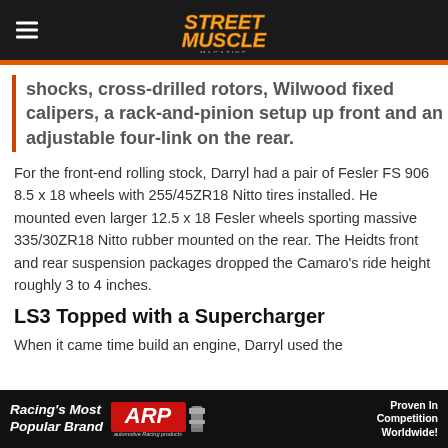Street Muscle Magazine
shocks, cross-drilled rotors, Wilwood fixed calipers, a rack-and-pinion setup up front and an adjustable four-link on the rear.
For the front-end rolling stock, Darryl had a pair of Fesler FS 906 8.5 x 18 wheels with 255/45ZR18 Nitto tires installed. He mounted even larger 12.5 x 18 Fesler wheels sporting massive 335/30ZR18 Nitto rubber mounted on the rear. The Heidts front and rear suspension packages dropped the Camaro’s ride height roughly 3 to 4 inches.
LS3 Topped with a Supercharger
When it came time build an engine, Darryl used the
[Figure (other): ARP automotive racing products advertisement banner. Left: 'Racing's Most Popular Brand' text in white italic bold. Center: ARP logo in red with 'automotive Racing products' tagline and a metal bolt/hardware image. Right: 'Proven In Competition Worldwide!' text in white.]